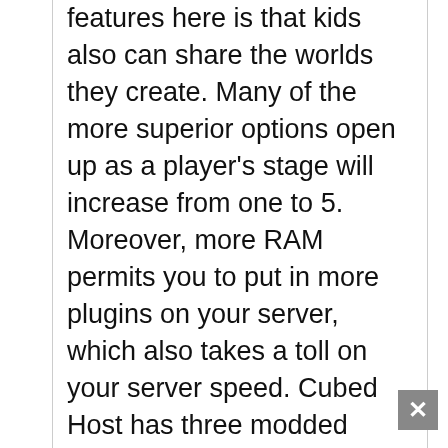features here is that kids also can share the worlds they create. Many of the more superior options open up as a player's stage will increase from one to 5. Moreover, more RAM permits you to put in more plugins on your server, which also takes a toll on your server speed. Cubed Host has three modded Minecraft server hosting
We use cookies on our website to give you the most relevant experience by remembering your preferences and repeat visits. By clicking "Accept", you consent to the use of all cookies.
Accept
host their Minecraft sport on the World Extensive Internet. As I used to be admiring the greenskin, one of the village's inhabitants logged in, appearing in local chat. Within the UK, for instance, one